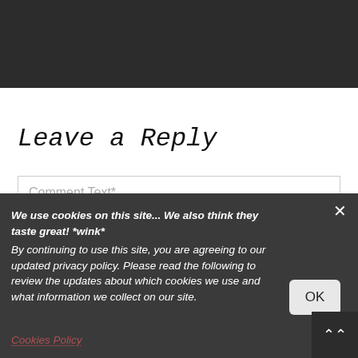Leave a Reply
Comment Text*
We use cookies on this site... We also think they taste great! *wink* By continuing to use this site, you are agreeing to our updated privacy policy. Please read the following to review the updates about which cookies we use and what information we collect on our site.
Cookies Policy